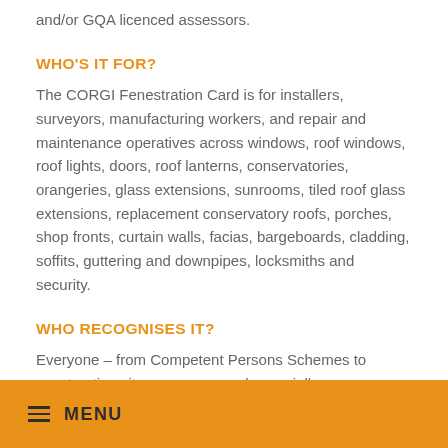and/or GQA licenced assessors.
WHO'S IT FOR?
The CORGI Fenestration Card is for installers, surveyors, manufacturing workers, and repair and maintenance operatives across windows, roof windows, roof lights, doors, roof lanterns, conservatories, orangeries, glass extensions, sunrooms, tiled roof glass extensions, replacement conservatory roofs, porches, shop fronts, curtain walls, facias, bargeboards, cladding, soffits, guttering and downpipes, locksmiths and security.
WHO RECOGNISES IT?
Everyone – from Competent Persons Schemes to construction site managers, and especially homeowners.
≡ MENU